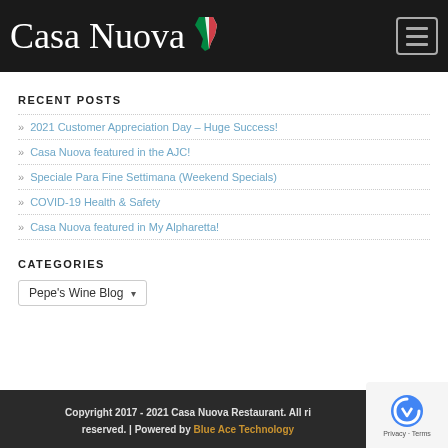Casa Nuova
RECENT POSTS
2021 Customer Appreciation Day – Huge Success!
Casa Nuova featured in the AJC!
Speciale Para Fine Settimana (Weekend Specials)
COVID-19 Health & Safety
Casa Nuova featured in My Alpharetta!
CATEGORIES
Pepe's Wine Blog
Copyright 2017 - 2021 Casa Nuova Restaurant. All rights reserved. | Powered by Blue Ace Technology